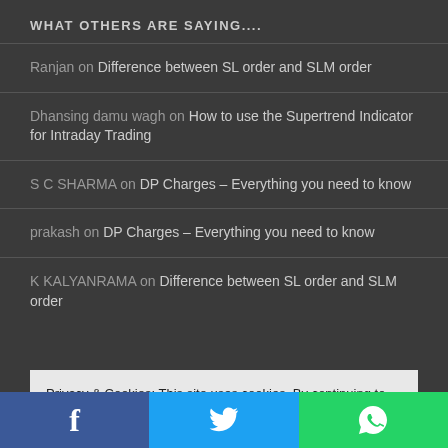WHAT OTHERS ARE SAYING....
Ranjan on Difference between SL order and SLM order
Dhansing damu wagh on How to use the Supertrend Indicator for Intraday Trading
S C SHARMA on DP Charges – Everything you need to know
prakash on DP Charges – Everything you need to know
K KALYANRAMA on Difference between SL order and SLM order
Privacy & Cookies: This site uses cookies. By continuing to use this website, you agree to their use. To find out more, including how to control cookies, see here: Cookie Policy